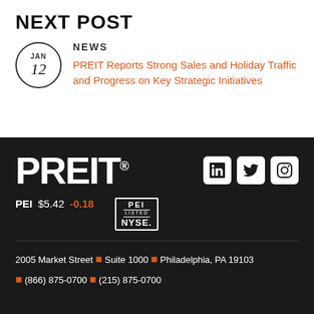NEXT POST
NEWS
JAN 12
PREIT Reports Strong Sales and Holiday Traffic and Progress on Key Strategic Initiatives
[Figure (logo): PREIT logo in white large text on dark background, with LinkedIn, Twitter, and Instagram social media icons]
PEI $5.42  -0.18
[Figure (other): PEI Listed NYSE badge]
2005 Market Street • Suite 1000 • Philadelphia, PA 19103 • (866) 875-0700 • (215) 875-0700